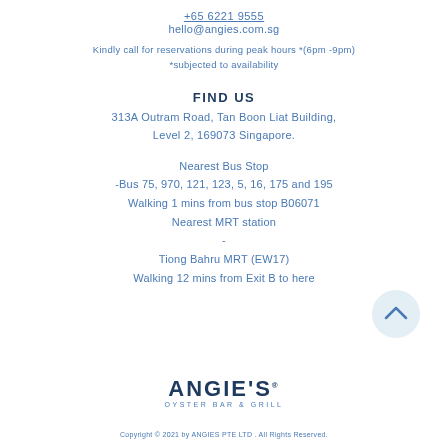+65 6221 9555
hello@angies.com.sg
Kindly call for reservations during peak hours *(6pm -9pm)
*subjected to availability
FIND US
313A Outram Road, Tan Boon Liat Building,
Level 2, 169073 Singapore.
Nearest Bus Stop
-Bus 75, 970, 121, 123, 5, 16, 175 and 195
Walking 1 mins from bus stop B06071
Nearest MRT station
-
Tiong Bahru MRT (EW17)
Walking 12 mins from Exit B to here
[Figure (logo): Angie's Oyster Bar & Grill logo]
Copyright © 2021 by ANGIES PTE LTD . All Rights Reserved.